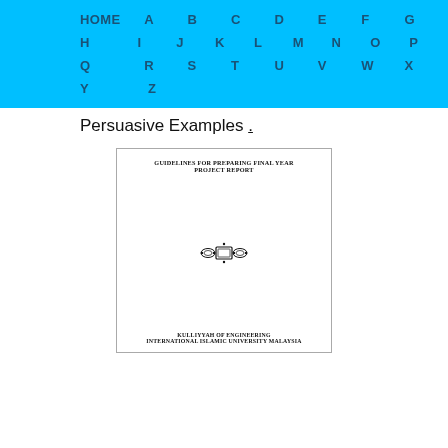HOME A B C D E F G H I J K L M N O P Q R S T U V W X Y Z
Persuasive Examples .
[Figure (screenshot): Thumbnail image of a document cover page titled 'GUIDELINES FOR PREPARING FINAL YEAR PROJECT REPORT' with a decorative logo emblem and footer text 'KULLIYYAH OF ENGINEERING INTERNATIONAL ISLAMIC UNIVERSITY MALAYSIA']